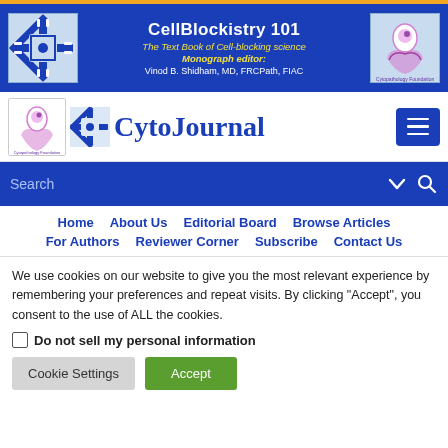[Figure (logo): CellBlockistry 101 banner with logos and text: The Text Book of Cell-blocking science, Monograph editor: Vinod B. Shidham, MD, FRCPath, FIAC]
[Figure (logo): CytoJournal navigation header with logos and menu button]
Search
Home   About Us   Editorial Board   Browse Articles   For Authors   Reviewer Corner   Subscribe   Contact Us
We use cookies on our website to give you the most relevant experience by remembering your preferences and repeat visits. By clicking "Accept", you consent to the use of ALL the cookies.
Do not sell my personal information
Cookie Settings   Accept